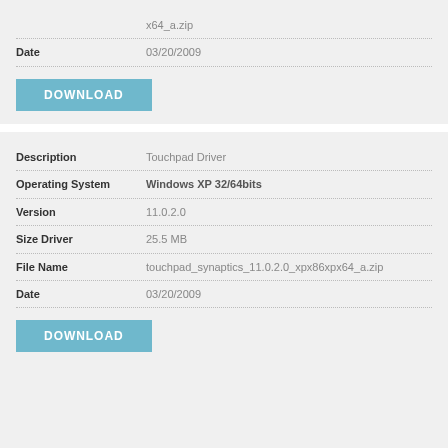x64_a.zip
Date: 03/20/2009
DOWNLOAD
Description: Touchpad Driver
Operating System: Windows XP 32/64bits
Version: 11.0.2.0
Size Driver: 25.5 MB
File Name: touchpad_synaptics_11.0.2.0_xpx86xpx64_a.zip
Date: 03/20/2009
DOWNLOAD